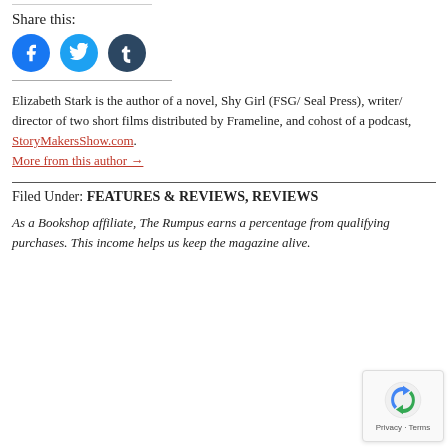Share this:
[Figure (other): Social share icons: Facebook (blue circle), Twitter (light blue circle), Tumblr (dark blue circle)]
Elizabeth Stark is the author of a novel, Shy Girl (FSG/ Seal Press), writer/ director of two short films distributed by Frameline, and cohost of a podcast, StoryMakersShow.com. More from this author →
Filed Under: FEATURES & REVIEWS, REVIEWS
As a Bookshop affiliate, The Rumpus earns a percentage from qualifying purchases. This income helps us keep the magazine alive.